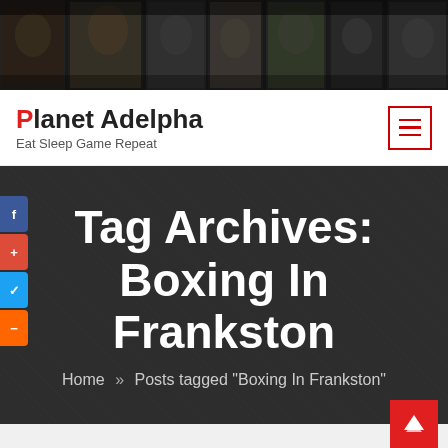[Figure (photo): Dark header banner showing multiple video game characters side by side]
Planet Adelpha
Eat Sleep Game Repeat
[Figure (other): Hamburger menu icon with red border]
Tag Archives: Boxing In Frankston
Home » Posts tagged "Boxing In Frankston"